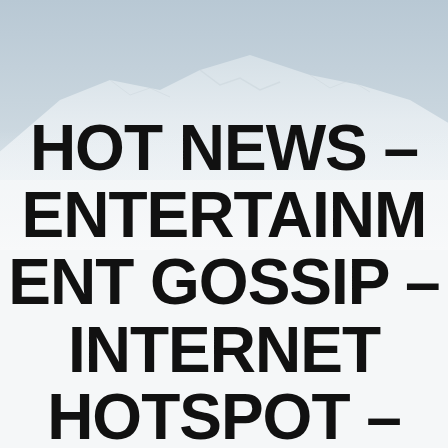[Figure (photo): Snow-covered mountain landscape with light grey-blue sky, serving as background image]
HOT NEWS – ENTERTAINMENT GOSSIP – INTERNET HOTSPOT –